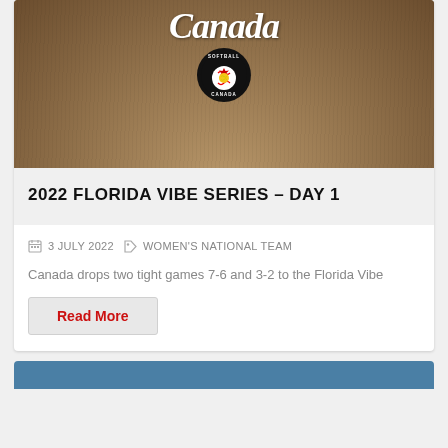[Figure (photo): Softball Canada header image showing baseball diamond dirt infield with Canada wordmark script logo and Softball Canada circular badge (black circle with maple leaf and softball)]
2022 FLORIDA VIBE SERIES – DAY 1
3 JULY 2022   WOMEN'S NATIONAL TEAM
Canada drops two tight games 7-6 and 3-2 to the Florida Vibe
Read More